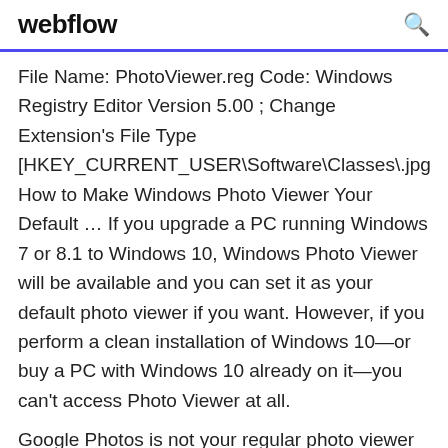webflow
File Name: PhotoViewer.reg Code: Windows Registry Editor Version 5.00 ; Change Extension's File Type [HKEY_CURRENT_USER\Software\Classes\.jpg How to Make Windows Photo Viewer Your Default ... If you upgrade a PC running Windows 7 or 8.1 to Windows 10, Windows Photo Viewer will be available and you can set it as your default photo viewer if you want. However, if you perform a clean installation of Windows 10—or buy a PC with Windows 10 already on it—you can't access Photo Viewer at all.
Google Photos is not your regular photo viewer for Windows 10, but it can be a very helpful tool